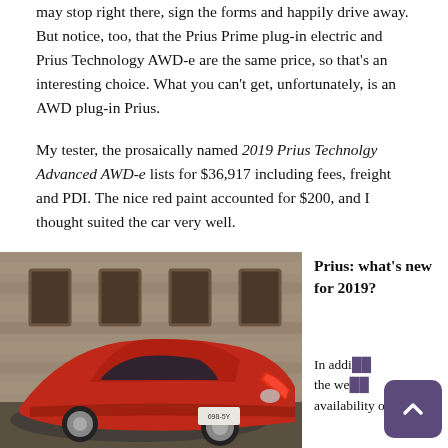may stop right there, sign the forms and happily drive away. But notice, too, that the Prius Prime plug-in electric and Prius Technology AWD-e are the same price, so that's an interesting choice. What you can't get, unfortunately, is an AWD plug-in Prius.
My tester, the prosaically named 2019 Prius Technolgy Advanced AWD-e lists for $36,917 including fees, freight and PDI. The nice red paint accounted for $200, and I thought suited the car very well.
[Figure (photo): Red 2019 Toyota Prius AWD-e photographed from the rear three-quarter angle, parked in front of a stone building with brick facade and windows.]
Prius: what's new for 2019?
In addi... the we... availability of